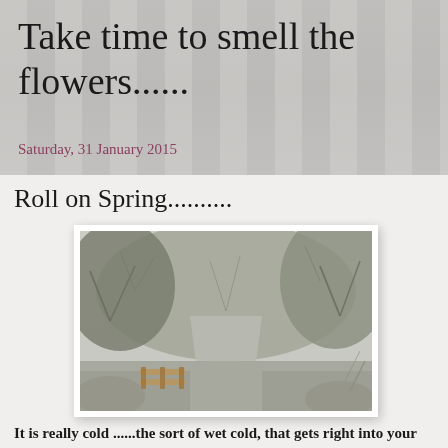Take time to smell the flowers......
Saturday, 31 January 2015
Roll on Spring..........
[Figure (photo): Winter garden scene showing a path or gate surrounded by bare deciduous trees and shrubs with no leaves, pale grey/brown tones, cold wintry atmosphere. A wooden fence or gate visible at lower left.]
It is really cold ......the sort of wet cold, that gets right into your bones... Mr Brimwood 4 big theropy content...